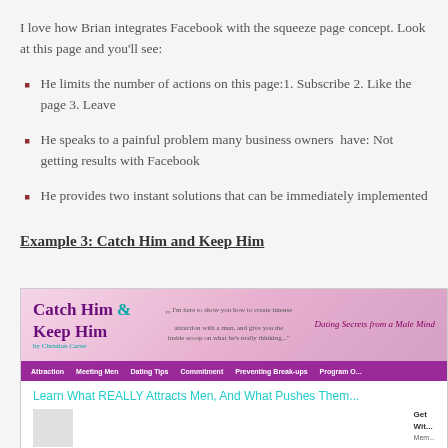I love how Brian integrates Facebook with the squeeze page concept. Look at this page and you’ll see:
He limits the number of actions on this page:1. Subscribe 2. Like the page 3. Leave
He speaks to a painful problem many business owners have: Not getting results with Facebook
He provides two instant solutions that can be immediately implemented
Example 3: Catch Him and Keep Him
[Figure (screenshot): Screenshot of the 'Catch Him & Keep Him by Christian Carter' website showing the pink header with logo, quote, 'Dating Secrets from a Male Mind' tagline, purple navigation bar with items Attraction, Meeting Men, Dating Tips, Commitment, Preventing Break-ups, Program O..., teal headline 'Learn What REALLY Attracts Men, And What Pushes Them...', and a partial photo of a woman with a Get With/Mem sidebar.]